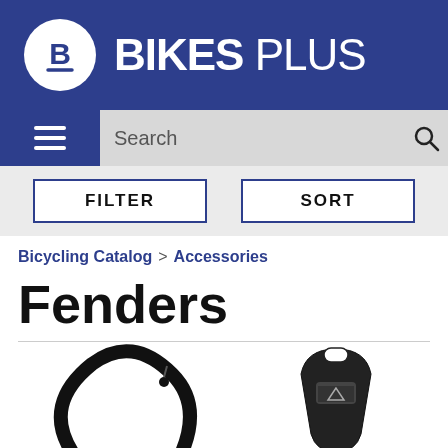[Figure (logo): Bikes Plus logo: circular white B/P icon on dark blue banner with white bold text BIKES PLUS]
[Figure (screenshot): Search bar with hamburger menu icon on left (dark blue background) and search magnifier icon on right, search placeholder text in gray bar]
[Figure (screenshot): Filter and Sort buttons row on light gray background]
Bicycling Catalog > Accessories
Fenders
[Figure (photo): Left: black fender arc shape product photo; Right: black rear fender product photo]